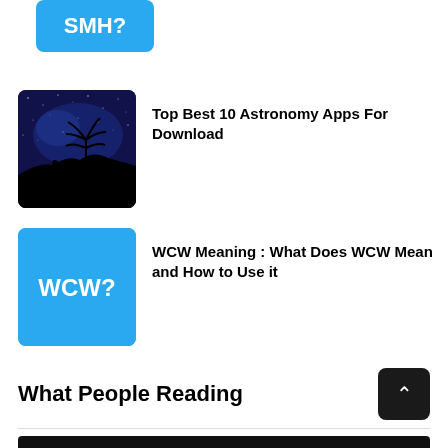[Figure (other): Partial blue card with text SMH? at the top of the page]
[Figure (photo): Night sky with silhouette of a person and tree]
Top Best 10 Astronomy Apps For Download
[Figure (other): Blue card with white bold text WCW?]
WCW Meaning : What Does WCW Mean and How to Use it
What People Reading
[Figure (photo): Dark/black bottom image strip]